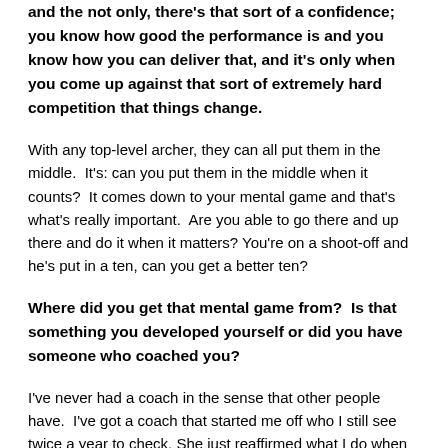and the not only, there's that sort of a confidence; you know how good the performance is and you know how you can deliver that, and it's only when you come up against that sort of extremely hard competition that things change.
With any top-level archer, they can all put them in the middle.  It's: can you put them in the middle when it counts?  It comes down to your mental game and that's what's really important.  Are you able to go there and up there and do it when it matters? You're on a shoot-off and he's put in a ten, can you get a better ten?
Where did you get that mental game from?  Is that something you developed yourself or did you have someone who coached you?
I've never had a coach in the sense that other people have.  I've got a coach that started me off who I still see twice a year to check. She just reaffirmed what I do when I'm...